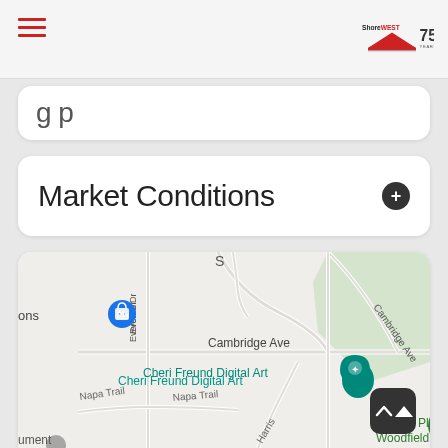Shorewest 75 Years
g p
Market Conditions
[Figure (map): Google Maps view showing Cambridge Ave, Everett Dr, Napa Trail, Harris, Yvonne St, Cambridge Ave (diagonal), Cheri Freund Digital Art (teal pin), Minaka Pla Woodfield (green pin), Minaka Park (green pin), and a blue shopping pin labeled 'ons'. Green area visible in upper right. Gray street map on light background.]